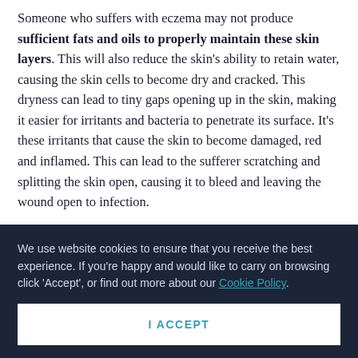Someone who suffers with eczema may not produce sufficient fats and oils to properly maintain these skin layers. This will also reduce the skin's ability to retain water, causing the skin cells to become dry and cracked. This dryness can lead to tiny gaps opening up in the skin, making it easier for irritants and bacteria to penetrate its surface. It's these irritants that cause the skin to become damaged, red and inflamed. This can lead to the sufferer scratching and splitting the skin open, causing it to bleed and leaving the wound open to infection.
We use website cookies to ensure that you receive the best experience. If you're happy and would like to carry on browsing click 'Accept', or find out more about our Cookie Policy.
I ACCEPT